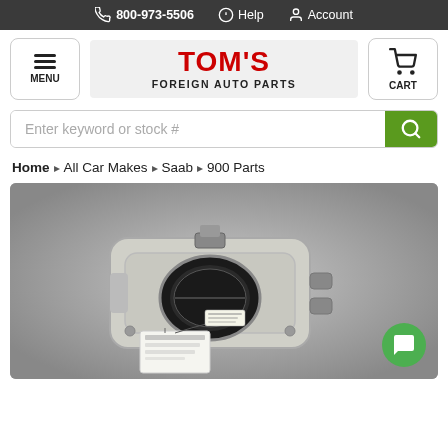800-973-5506  Help  Account
[Figure (logo): Tom's Foreign Auto Parts logo with hamburger menu and cart icons]
Enter keyword or stock #
Home > All Car Makes > Saab > 900 Parts
[Figure (photo): Photo of a Saab 900 throttle body part on a gray background with a tag attached]